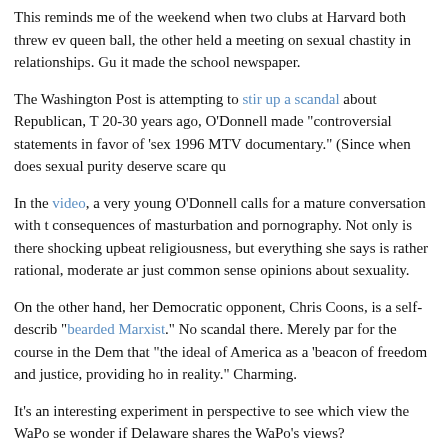This reminds me of the weekend when two clubs at Harvard both threw ev queen ball, the other held a meeting on sexual chastity in relationships. Gu it made the school newspaper.
The Washington Post is attempting to stir up a scandal about Republican, T 20-30 years ago, O'Donnell made "controversial statements in favor of 'sex 1996 MTV documentary." (Since when does sexual purity deserve scare qu
In the video, a very young O'Donnell calls for a mature conversation with t consequences of masturbation and pornography. Not only is there shocking upbeat religiousness, but everything she says is rather rational, moderate ar just common sense opinions about sexuality.
On the other hand, her Democratic opponent, Chris Coons, is a self-describ "bearded Marxist." No scandal there. Merely par for the course in the Dem that "the ideal of America as a 'beacon of freedom and justice, providing ho in reality." Charming.
It's an interesting experiment in perspective to see which view the WaPo se wonder if Delaware shares the WaPo's views?
Categories > Elections
12:58 PM / September 18, 2010
Trackbacks | Discuss (5) | Share | RSS